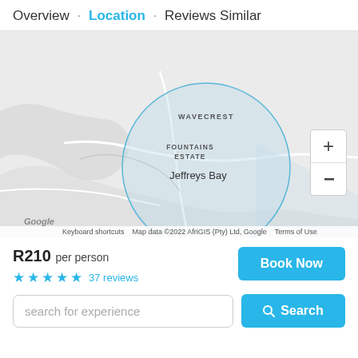Overview · Location · Reviews Similar
[Figure (map): Map showing Jeffreys Bay area with circle overlay highlighting Wavecrest, Fountains Estate, and Jeffreys Bay labels. Google map with zoom controls visible.]
R210 per person
★★★★★ 37 reviews
search for experience